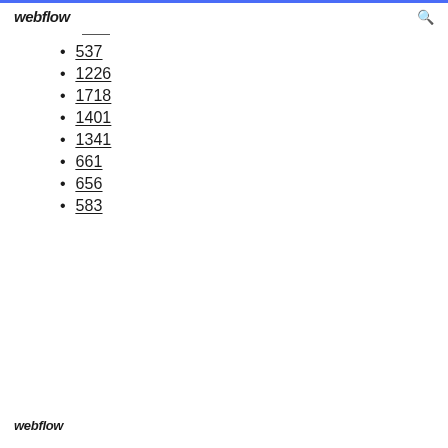webflow
537
1226
1718
1401
1341
661
656
583
webflow